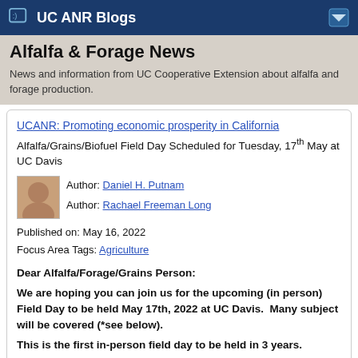UC ANR Blogs
Alfalfa & Forage News
News and information from UC Cooperative Extension about alfalfa and forage production.
UCANR: Promoting economic prosperity in California
Alfalfa/Grains/Biofuel Field Day Scheduled for Tuesday, 17th May at UC Davis
Author: Daniel H. Putnam
Author: Rachael Freeman Long
Published on: May 16, 2022
Focus Area Tags: Agriculture
Dear Alfalfa/Forage/Grains Person:
We are hoping you can join us for the upcoming (in person) Field Day to be held May 17th, 2022 at UC Davis.  Many subject will be covered (*see below).
This is the first in-person field day to be held in 3 years.
Yes, there is a FREE LUNCH!!
Come early - Refreshments at 7:30, Hay Wagons leave